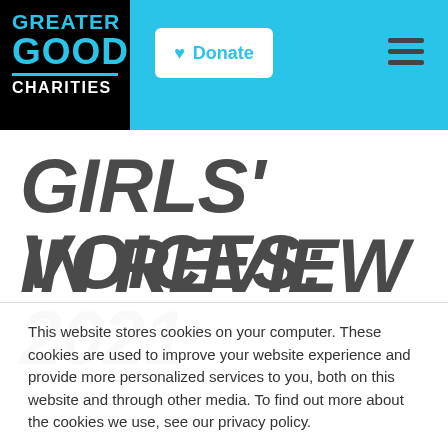[Figure (logo): Greater Good Charities logo — black background with 'GREATER GOOD' in cyan and 'CHARITIES' in white, with a cyan underline between them]
Donate
GIRLS' VOICES: 2021
IN REVIEW
This website stores cookies on your computer. These cookies are used to improve your website experience and provide more personalized services to you, both on this website and through other media. To find out more about the cookies we use, see our privacy policy.
Accept